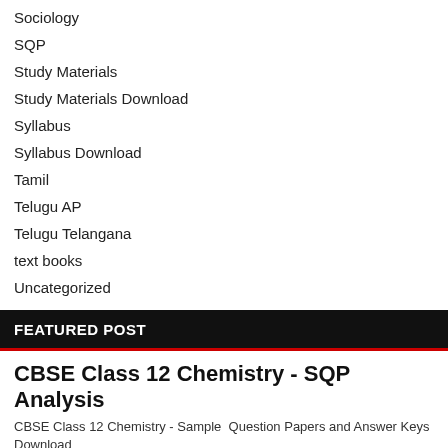Sociology
SQP
Study Materials
Study Materials Download
Syllabus
Syllabus Download
Tamil
Telugu AP
Telugu Telangana
text books
Uncategorized
FEATURED POST
CBSE Class 12 Chemistry - SQP Analysis
CBSE Class 12 Chemistry - Sample  Question Papers and Answer Keys Download